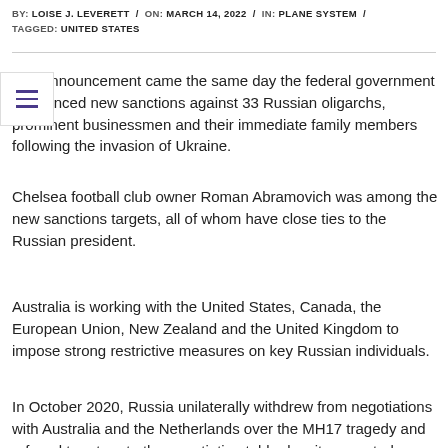BY: LOISE J. LEVERETT / ON: MARCH 14, 2022 / IN: PLANE SYSTEM / TAGGED: UNITED STATES
The announcement came the same day the federal government announced new sanctions against 33 Russian oligarchs, prominent businessmen and their immediate family members following the invasion of Ukraine.
Chelsea football club owner Roman Abramovich was among the new sanctions targets, all of whom have close ties to the Russian president.
Australia is working with the United States, Canada, the European Union, New Zealand and the United Kingdom to impose strong restrictive measures on key Russian individuals.
In October 2020, Russia unilaterally withdrew from negotiations with Australia and the Netherlands over the MH17 tragedy and refused to return to the negotiating table despite repeated requests.